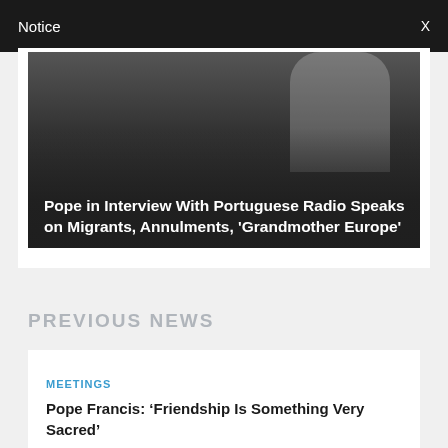Notice  X
[Figure (photo): Dark photo of a person in white clerical clothing (pope) holding a microphone, with semi-transparent dark overlay showing article headline]
Pope in Interview With Portuguese Radio Speaks on Migrants, Annulments, 'Grandmother Europe'
PREVIOUS NEWS
MEETINGS
Pope Francis: ‘Friendship Is Something Very Sacred’